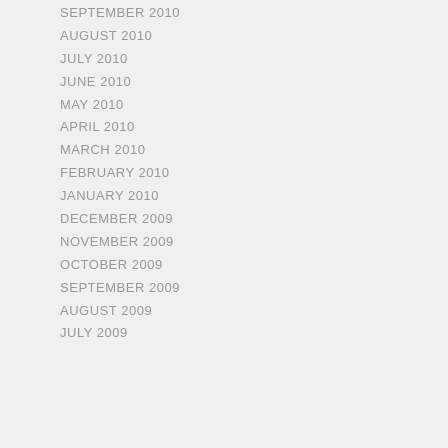SEPTEMBER 2010
AUGUST 2010
JULY 2010
JUNE 2010
MAY 2010
APRIL 2010
MARCH 2010
FEBRUARY 2010
JANUARY 2010
DECEMBER 2009
NOVEMBER 2009
OCTOBER 2009
SEPTEMBER 2009
AUGUST 2009
JULY 2009